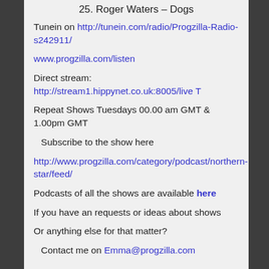25. Roger Waters – Dogs
Tunein on http://tunein.com/radio/Progzilla-Radio-s242911/
www.progzilla.com/listen
Direct stream: http://stream1.hippynet.co.uk:8005/live T
Repeat Shows Tuesdays 00.00 am GMT & 1.00pm GMT
Subscribe to the show here
http://www.progzilla.com/category/podcast/northern-star/feed/
Podcasts of all the shows are available here
If you have an requests or ideas about shows
Or anything else for that matter?
Contact me on Emma@progzilla.com